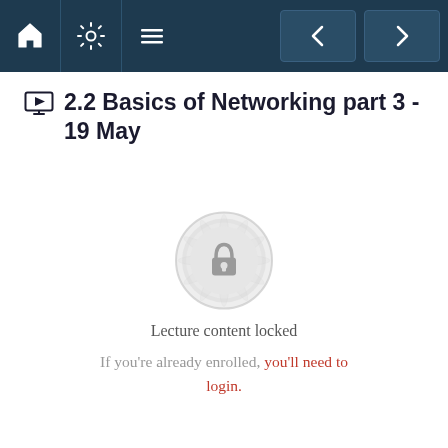[Figure (screenshot): Navigation bar with home, settings, menu icons and left/right navigation buttons on dark blue background]
2.2 Basics of Networking part 3 - 19 May
[Figure (illustration): Lock icon inside a decorative gear/mandala badge indicating locked lecture content]
Lecture content locked
If you're already enrolled, you'll need to login.